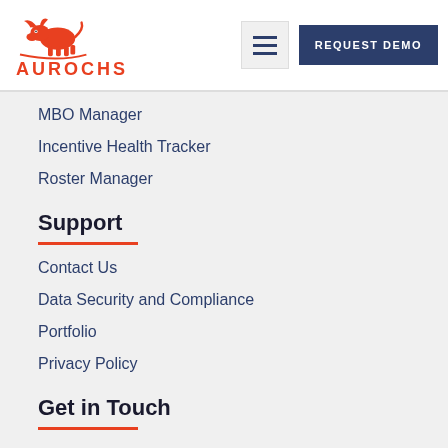[Figure (logo): Aurochs logo — red bull illustration above the word AUROCHS in bold red capital letters]
REQUEST DEMO
MBO Manager
Incentive Health Tracker
Roster Manager
Support
Contact Us
Data Security and Compliance
Portfolio
Privacy Policy
Get in Touch